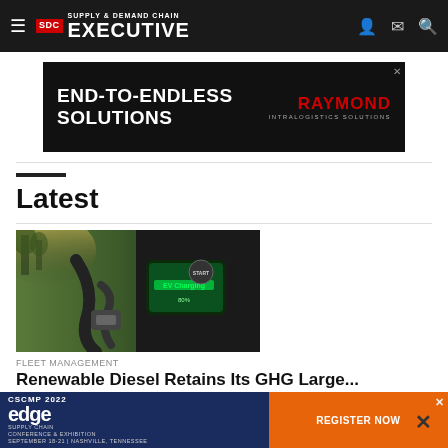SDC Supply & Demand Chain Executive
[Figure (screenshot): Advertisement banner: END-TO-ENDLESS SOLUTIONS — RAYMOND INTRALOGISTICS SOLUTIONS on dark background]
Latest
[Figure (photo): EV charging plug inserted into a vehicle with a screen showing 'EV Charging' on a green interface. Background shows outdoor daylight with trees.]
Fleet Management
Renewable Diesel Retains Its GHG Large...
[Figure (screenshot): CSCMP 2022 Edge Supply Chain Conference & Exhibition advertisement overlay with orange Register Now button]